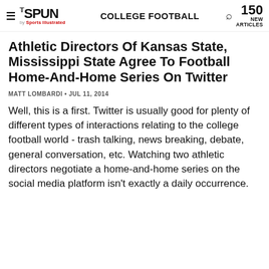THE SPUN by Sports Illustrated | COLLEGE FOOTBALL | 150 NEW ARTICLES
Athletic Directors Of Kansas State, Mississippi State Agree To Football Home-And-Home Series On Twitter
MATT LOMBARDI • JUL 11, 2014
Well, this is a first. Twitter is usually good for plenty of different types of interactions relating to the college football world - trash talking, news breaking, debate, general conversation, etc. Watching two athletic directors negotiate a home-and-home series on the social media platform isn't exactly a daily occurrence.